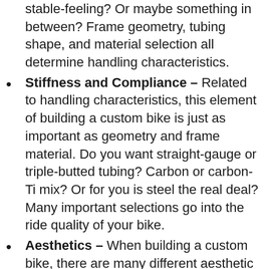stable-feeling? Or maybe something in between? Frame geometry, tubing shape, and material selection all determine handling characteristics.
Stiffness and Compliance – Related to handling characteristics, this element of building a custom bike is just as important as geometry and frame material. Do you want straight-gauge or triple-butted tubing? Carbon or carbon-Ti mix? Or for you is steel the real deal? Many important selections go into the ride quality of your bike.
Aesthetics – When building a custom bike, there are many different aesthetic choices to make. Do you want custom paint or the understated elegance of finished titanium? Colored graphics and components to match? It